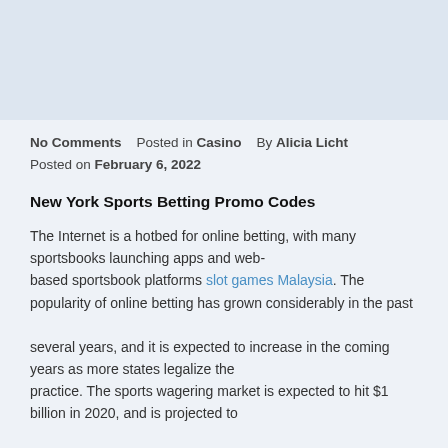No Comments   Posted in Casino   By Alicia Licht
Posted on February 6, 2022
New York Sports Betting Promo Codes
The Internet is a hotbed for online betting, with many sportsbooks launching apps and web-based sportsbook platforms slot games Malaysia. The popularity of online betting has grown considerably in the past several years, and it is expected to increase in the coming years as more states legalize the practice. The sports wagering market is expected to hit $1 billion in 2020, and is projected to grow six-fold by 2023. By that time, the total revenue of legalized sports betting is estimated to